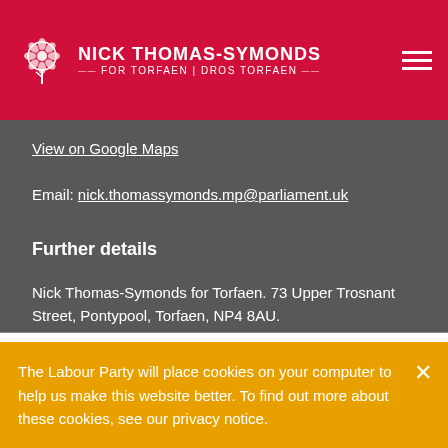NICK THOMAS-SYMONDS FOR TORFAEN | DROS TORFAEN
View on Google Maps
Email: nick.thomassymonds.mp@parliament.uk
Further details
Nick Thomas-Symonds for Torfaen. 73 Upper Trosnant Street, Pontypool, Torfaen, NP4 8AU.
Privacy Policy
Disability Access
The Labour Party will place cookies on your computer to help us make this website better. To find out more about these cookies, see our privacy notice.